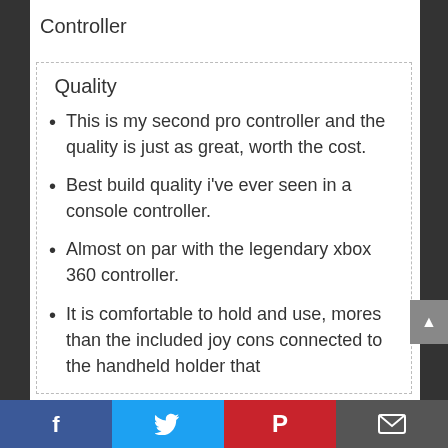Controller
Quality
This is my second pro controller and the quality is just as great, worth the cost.
Best build quality i've ever seen in a console controller.
Almost on par with the legendary xbox 360 controller.
It is comfortable to hold and use, mores than the included joy cons connected to the handheld holder that
Facebook Twitter Pinterest Email